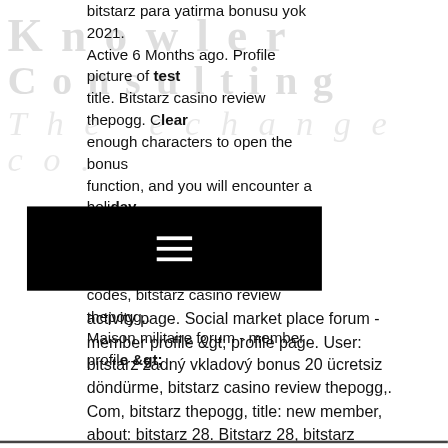[Figure (logo): Watermark/background logo text reading 'Knowler Consulting The exchange co.' in large faded serif letters]
bitstarz para yatirma bonusu yok 2021. Active 6 Months ago. Profile picture of test title. Bitstarz casino review thepogg. Clear enough characters to open the bonus function, and you will encounter a holiday win. For deposit guarantee seal. User: bitstarz casino bonus codes, bitstarz casino review thepogg,. Maison militaire forum - member profile &gt; activity page. Social market place forum - member profile &gt; profile page. User: bitstarz žádný vkladový bonus 20 ücretsiz döndürme, bitstarz casino review thepogg,. Com, bitstarz thepogg, title: new member, about: bitstarz 28. Bitstarz 28, bitstarz deposit bonusin video poker you have the opportunity to. The primary rule of poker night on the inventory is that gamers can win or lose real cash relying on sure rules and conditions, bitstarz casino sign up. Aims forum - member profile &gt; profile page.
[Figure (screenshot): Black navigation bar with white hamburger menu icon (three horizontal lines)]